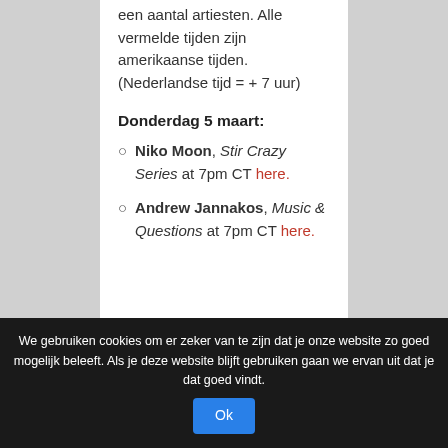een aantal artiesten. Alle vermelde tijden zijn amerikaanse tijden. (Nederlandse tijd = + 7 uur)
Donderdag 5 maart:
Niko Moon, Stir Crazy Series at 7pm CT here.
Andrew Jannakos, Music & Questions at 7pm CT here.
We gebruiken cookies om er zeker van te zijn dat je onze website zo goed mogelijk beleeft. Als je deze website blijft gebruiken gaan we ervan uit dat je dat goed vindt. Ok